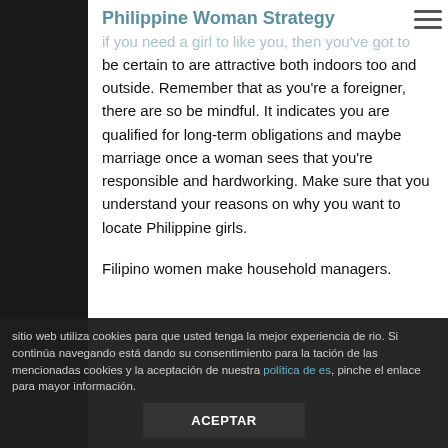Philippine Woman Strategy
if you need a girl to like you, then you've got to be certain to are attractive both indoors too and outside. Remember that as you're a foreigner, there are so be mindful. It indicates you are qualified for long-term obligations and maybe marriage once a woman sees that you're responsible and hardworking. Make sure that you understand your reasons on why you want to locate Philippine girls.
Filipino women make household managers.
sitio web utiliza cookies para que usted tenga la mejor experiencia de rio. Si continúa navegando está dando su consentimiento para la tación de las mencionadas cookies y la aceptación de nuestra política de es, pinche el enlace para mayor información.
ACEPTAR